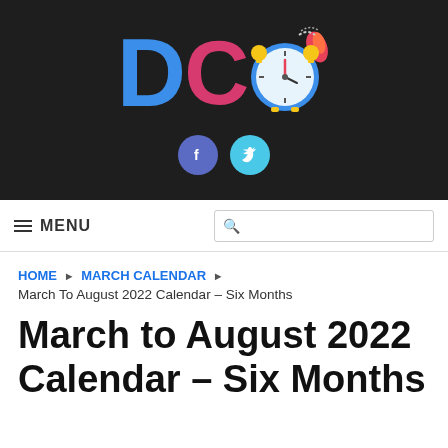[Figure (logo): DC logo with alarm clock icon and social media buttons (Facebook, Twitter) on dark background]
≡ MENU  [search bar]
HOME ▶ MARCH CALENDAR ▶
March To August 2022 Calendar – Six Months
March to August 2022 Calendar – Six Months